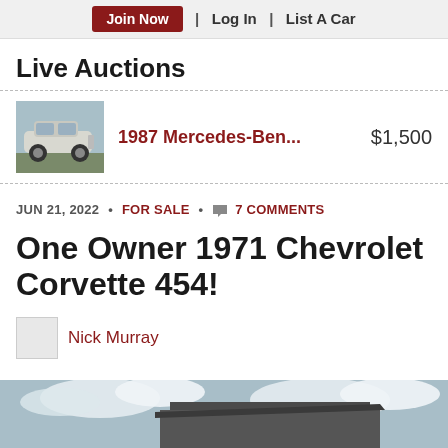Join Now | Log In | List A Car
Live Auctions
1987 Mercedes-Ben...  $1,500
JUN 21, 2022 • FOR SALE • 7 COMMENTS
One Owner 1971 Chevrolet Corvette 454!
Nick Murray
[Figure (photo): Bottom hero image showing a building with cloudy sky]